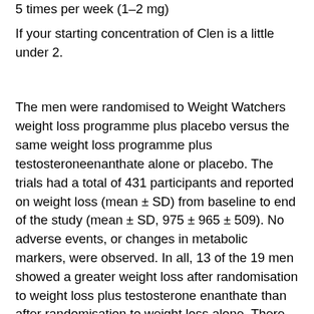5 times per week (1–2 mg)
If your starting concentration of Clen is a little under 2.
The men were randomised to Weight Watchers weight loss programme plus placebo versus the same weight loss programme plus testosteroneenanthate alone or placebo. The trials had a total of 431 participants and reported on weight loss (mean ± SD) from baseline to end of the study (mean ± SD, 975 ± 965 ± 509). No adverse events, or changes in metabolic markers, were observed. In all, 13 of the 19 men showed a greater weight loss after randomisation to weight loss plus testosterone enanthate than after randomisation to weight loss alone. There was no group difference in weight-loss outcomes. Neither male sex hormone